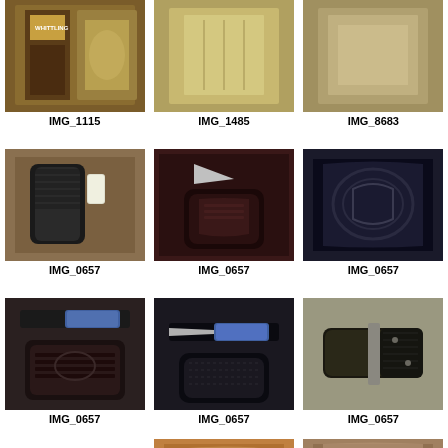[Figure (photo): Photo of whittling book/knife set in packaging]
IMG_1115
[Figure (photo): Photo of knife or tool in packaging]
IMG_1485
[Figure (photo): Photo of knife or tool in packaging]
IMG_8683
[Figure (photo): Photo of black leather knife sheath with white handle]
IMG_0657
[Figure (photo): Photo of knife with dark brown leather sheath]
IMG_0657
[Figure (photo): Photo of dark blue/black textured knife sheath closeup]
IMG_0657
[Figure (photo): Photo of knife with blue handle and black leather sheath]
IMG_0657
[Figure (photo): Photo of knife with blue handle in sheath]
IMG_0657
[Figure (photo): Photo of knife handle closeup with dark handle]
IMG_0657
[Figure (photo): Photo of orange/brown material]
[Figure (photo): Photo partially visible]